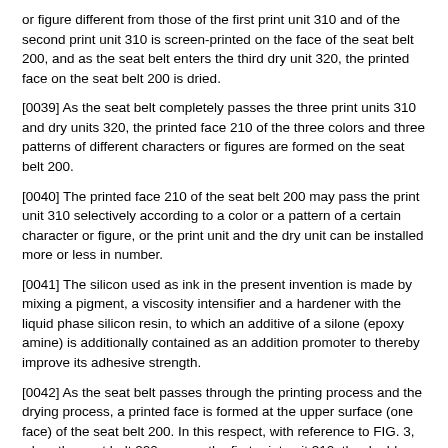or figure different from those of the first print unit 310 and of the second print unit 310 is screen-printed on the face of the seat belt 200, and as the seat belt enters the third dry unit 320, the printed face on the seat belt 200 is dried.
[0039] As the seat belt completely passes the three print units 310 and dry units 320, the printed face 210 of the three colors and three patterns of different characters or figures are formed on the seat belt 200.
[0040] The printed face 210 of the seat belt 200 may pass the print unit 310 selectively according to a color or a pattern of a certain character or figure, or the print unit and the dry unit can be installed more or less in number.
[0041] The silicon used as ink in the present invention is made by mixing a pigment, a viscosity intensifier and a hardener with the liquid phase silicon resin, to which an additive of a silone (epoxy amine) is additionally contained as an addition promoter to thereby improve its adhesive strength.
[0042] As the seat belt passes through the printing process and the drying process, a printed face is formed at the upper surface (one face) of the seat belt 200. In this respect, with reference to FIG. 3, when the seat belt 200 passes the first print unit 310, the double pattern of star 211 is printed thereon. When the seat belt 200 passes the next print unit 310, the smaller pattern of star 212 is printed thereon. At this time, the double pattern of star 211 and the smaller pattern of star 212 are in different colors or different...